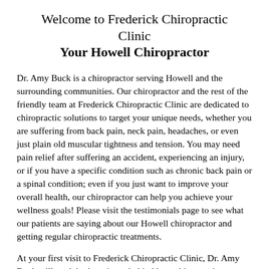Welcome to Frederick Chiropractic Clinic
Your Howell Chiropractor
Dr. Amy Buck is a chiropractor serving Howell and the surrounding communities. Our chiropractor and the rest of the friendly team at Frederick Chiropractic Clinic are dedicated to chiropractic solutions to target your unique needs, whether you are suffering from back pain, neck pain, headaches, or even just plain old muscular tightness and tension. You may need pain relief after suffering an accident, experiencing an injury, or if you have a specific condition such as chronic back pain or a spinal condition; even if you just want to improve your overall health, our chiropractor can help you achieve your wellness goals! Please visit the testimonials page to see what our patients are saying about our Howell chiropractor and getting regular chiropractic treatments.
At your first visit to Frederick Chiropractic Clinic, Dr. Amy Buck will explain the science behind how chiropractic care